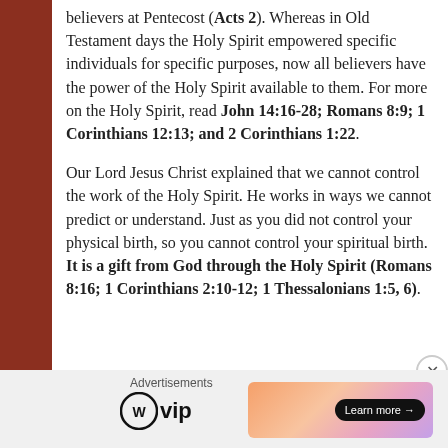believers at Pentecost (Acts 2). Whereas in Old Testament days the Holy Spirit empowered specific individuals for specific purposes, now all believers have the power of the Holy Spirit available to them. For more on the Holy Spirit, read John 14:16-28; Romans 8:9; 1 Corinthians 12:13; and 2 Corinthians 1:22.
Our Lord Jesus Christ explained that we cannot control the work of the Holy Spirit. He works in ways we cannot predict or understand. Just as you did not control your physical birth, so you cannot control your spiritual birth. It is a gift from God through the Holy Spirit (Romans 8:16; 1 Corinthians 2:10-12; 1 Thessalonians 1:5, 6).
Advertisements
[Figure (logo): WordPress VIP logo with circular WP icon and 'vip' text]
[Figure (infographic): Advertisement banner with gradient background (orange to pink to purple) with a 'Learn more →' button]